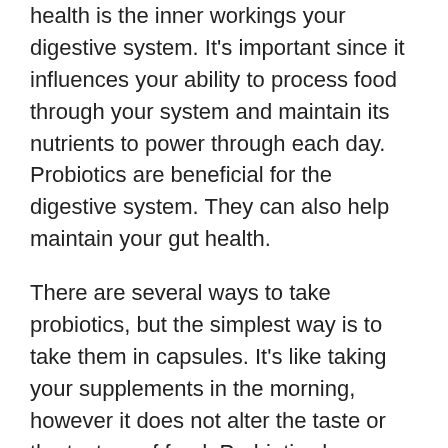health is the inner workings your digestive system. It's important since it influences your ability to process food through your system and maintain its nutrients to power through each day. Probiotics are beneficial for the digestive system. They can also help maintain your gut health.
There are several ways to take probiotics, but the simplest way is to take them in capsules. It's like taking your supplements in the morning, however it does not alter the taste or the texture of food. Probiotics have many health benefits. Learning more about them can inspire you to improve the health of your digestive system.
Direct...